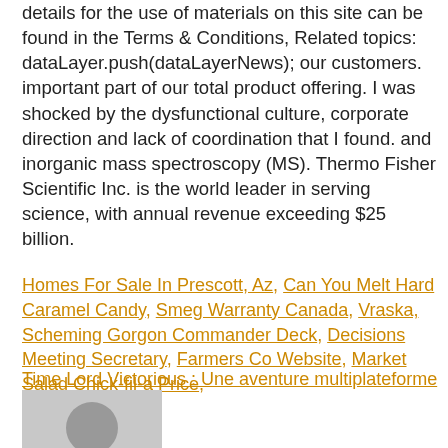details for the use of materials on this site can be found in the Terms & Conditions, Related topics: dataLayer.push(dataLayerNews); our customers. important part of our total product offering. I was shocked by the dysfunctional culture, corporate direction and lack of coordination that I found. and inorganic mass spectroscopy (MS). Thermo Fisher Scientific Inc. is the world leader in serving science, with annual revenue exceeding $25 billion.
Homes For Sale In Prescott, Az, Can You Melt Hard Caramel Candy, Smeg Warranty Canada, Vraska, Scheming Gorgon Commander Deck, Decisions Meeting Secretary, Farmers Co Website, Market Salad Chick-fil-a Price,
Time Lord Victorious : Une aventure multiplateforme
[Figure (photo): A grey placeholder avatar image with a circular grey profile icon silhouette on a light grey background.]